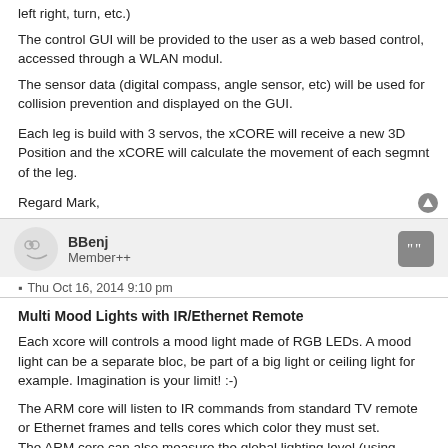left right, turn, etc.)
The control GUI will be provided to the user as a web based control, accessed through a WLAN modul.
The sensor data (digital compass, angle sensor, etc) will be used for collision prevention and displayed on the GUI.
Each leg is build with 3 servos, the xCORE will receive a new 3D Position and the xCORE will calculate the movement of each segmnt of the leg.
Regard Mark,
BBenj
Member++
Thu Oct 16, 2014 9:10 pm
Multi Mood Lights with IR/Ethernet Remote
Each xcore will controls a mood light made of RGB LEDs. A mood light can be a separate bloc, be part of a big light or ceiling light for example. Imagination is your limit! :-)
The ARM core will listen to IR commands from standard TV remote or Ethernet frames and tells cores which color they must set.
The ARM core can also measure the global lighting level (using